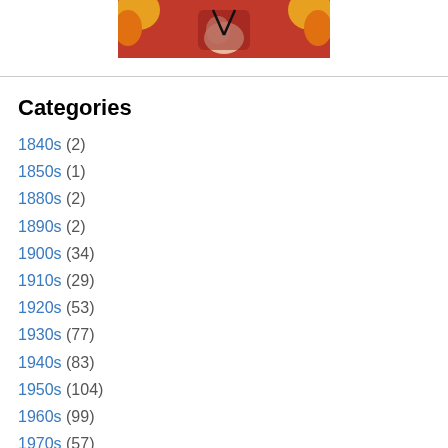[Figure (illustration): A colorful comic-book style illustration showing a figure in a red outfit with orange maple leaf accents, partially cropped.]
Categories
1840s (2)
1850s (1)
1880s (2)
1890s (2)
1900s (34)
1910s (29)
1920s (53)
1930s (77)
1940s (83)
1950s (104)
1960s (99)
1970s (57)
1980s (45)
1990s (47)